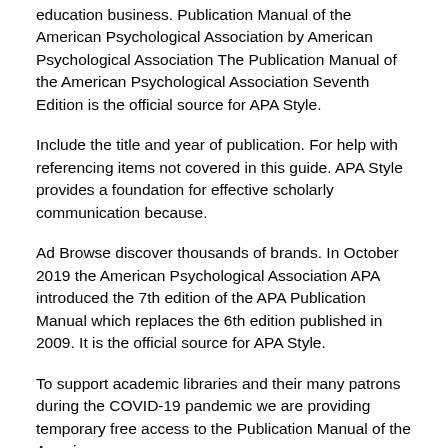education business. Publication Manual of the American Psychological Association by American Psychological Association The Publication Manual of the American Psychological Association Seventh Edition is the official source for APA Style.
Include the title and year of publication. For help with referencing items not covered in this guide. APA Style provides a foundation for effective scholarly communication because.
Ad Browse discover thousands of brands. In October 2019 the American Psychological Association APA introduced the 7th edition of the APA Publication Manual which replaces the 6th edition published in 2009. It is the official source for APA Style.
To support academic libraries and their many patrons during the COVID-19 pandemic we are providing temporary free access to the Publication Manual of the American